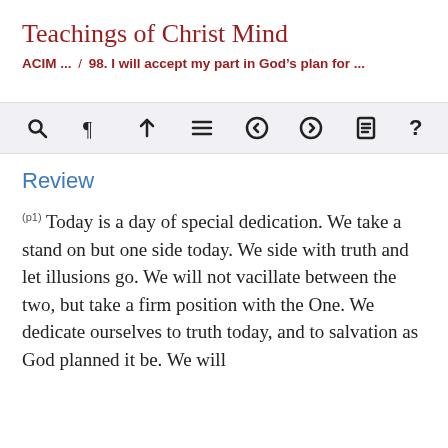Teachings of Christ Mind
ACIM ... / 98. I will accept my part in God's plan for ...
[Figure (infographic): Navigation toolbar with icons: search (magnifying glass), paragraph mark, up arrow, hamburger menu, left arrow, right arrow, document/list icon, question mark]
Review
(p1) Today is a day of special dedication. We take a stand on but one side today. We side with truth and let illusions go. We will not vacillate between the two, but take a firm position with the One. We dedicate ourselves to truth today, and to salvation as God planned it be. We will